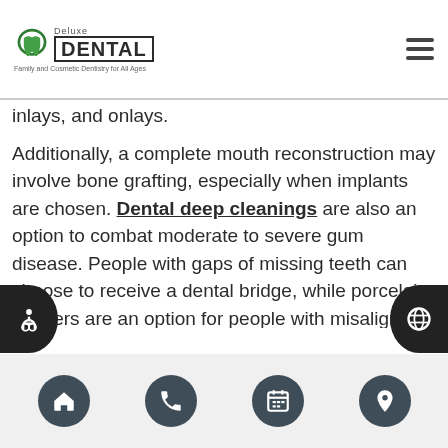Deluxe Dental — Family and Cosmetic Dentistry for All Ages
inlays, and onlays.
Additionally, a complete mouth reconstruction may involve bone grafting, especially when implants are chosen. Dental deep cleanings are also an option to combat moderate to severe gum disease. People with gaps of missing teeth can choose to receive a dental bridge, while porcelain veneers are an option for people with misaligned or discolored teeth in the front.
Navigation icons: home, phone, calendar, location